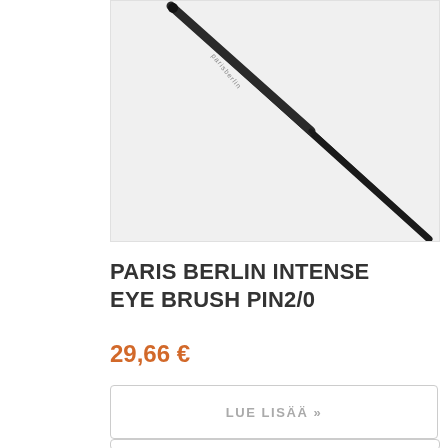[Figure (photo): A black eye makeup brush (Paris Berlin Intense Eye Brush PIN2/0) photographed diagonally on a light gray background. The brush is thin and pointed, with branding text along the handle.]
PARIS BERLIN INTENSE EYE BRUSH PIN2/0
29,66 €
LUE LISÄÄ »